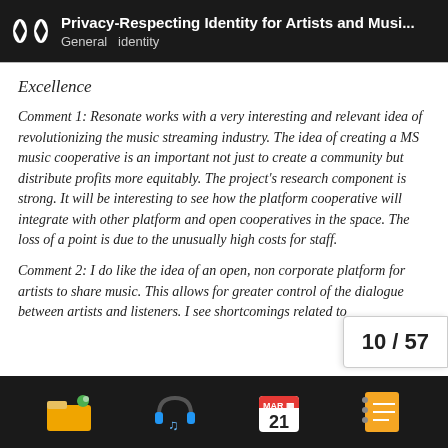Privacy-Respecting Identity for Artists and Musi... General  identity
Excellence
Comment 1: Resonate works with a very interesting and relevant idea of revolutionizing the music streaming industry. The idea of creating a MS music cooperative is an important not just to create a community but distribute profits more equitably. The project's research component is strong. It will be interesting to see how the platform cooperative will integrate with other platform and open cooperatives in the space. The loss of a point is due to the unusually high costs for staff.
Comment 2: I do like the idea of an open, non corporate platform for artists to share music. This allows for greater control of the dialogue between artists and listeners. I see shortcomings related to
10 / 57